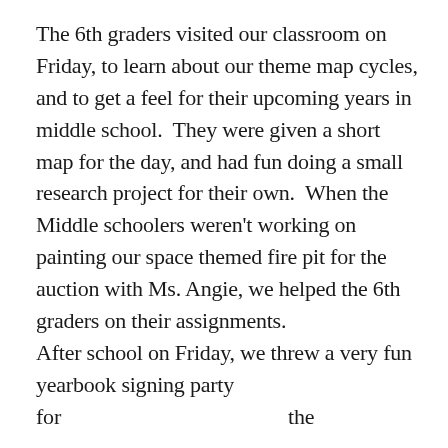The 6th graders visited our classroom on Friday, to learn about our theme map cycles, and to get a feel for their upcoming years in middle school.  They were given a short map for the day, and had fun doing a small research project for their own.  When the Middle schoolers weren't working on painting our space themed fire pit for the auction with Ms. Angie, we helped the 6th graders on their assignments.
After school on Friday, we threw a very fun yearbook signing party for                                          the